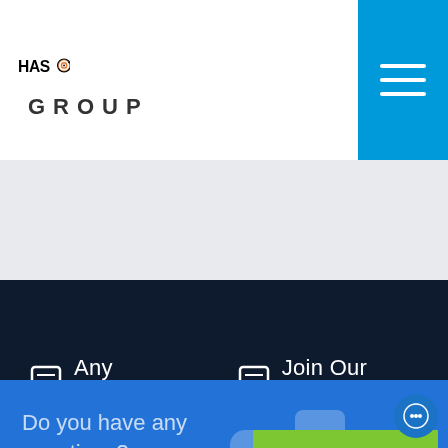[Figure (logo): Hassoun Group logo with camera icon incorporated into the letter O, in black text with orange/white camera graphic]
Any Enquiries?
Join Our Company
Find Branches
Do you have any questions?
920 006 133
Download Profile